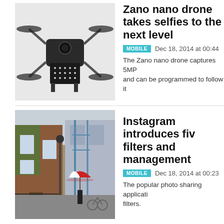[Figure (photo): Zano nano drone with four propellers and LED array, dark background]
Zano nano drone takes selfies to the next level
MOBILE  Dec 18, 2014 at 00:44
The Zano nano drone captures 5MP and can be programmed to follow it
[Figure (photo): London street scene with person holding red and white umbrella, brick buildings with ivy]
Instagram introduces five filters and management
MOBILE  Dec 18, 2014 at 00:23
The popular photo sharing application filters.
DECEMBER 17
[Figure (screenshot): App screenshot showing CAPTURE interface with icons for camera, flash, settings, and close]
Fyuse wants to revolutionize photography with 'surround images